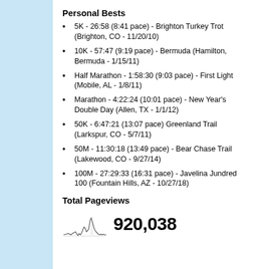Personal Bests
5K - 26:58 (8:41 pace) - Brighton Turkey Trot (Brighton, CO - 11/20/10)
10K - 57:47 (9:19 pace) - Bermuda (Hamilton, Bermuda - 1/15/11)
Half Marathon - 1:58:30 (9:03 pace) - First Light (Mobile, AL - 1/8/11)
Marathon - 4:22:24 (10:01 pace) - New Year's Double Day (Allen, TX - 1/1/12)
50K - 6:47:21 (13:07 pace) Greenland Trail (Larkspur, CO - 5/7/11)
50M - 11:30:18 (13:49 pace) - Bear Chase Trail (Lakewood, CO - 9/27/14)
100M - 27:29:33 (16:31 pace) - Javelina Jundred 100 (Fountain Hills, AZ - 10/27/18)
Total Pageviews
[Figure (continuous-plot): Small line chart thumbnail showing pageview history]
920,038